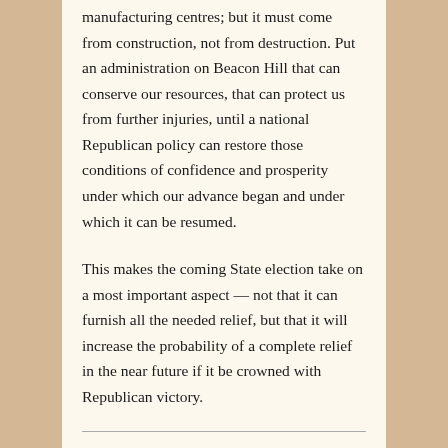manufacturing centres; but it must come from construction, not from destruction. Put an administration on Beacon Hill that can conserve our resources, that can protect us from further injuries, until a national Republican policy can restore those conditions of confidence and prosperity under which our advance began and under which it can be resumed.
This makes the coming State election take on a most important aspect — not that it can furnish all the needed relief, but that it will increase the probability of a complete relief in the near future if it be crowned with Republican victory.
Citation: Have Faith in Massachusetts